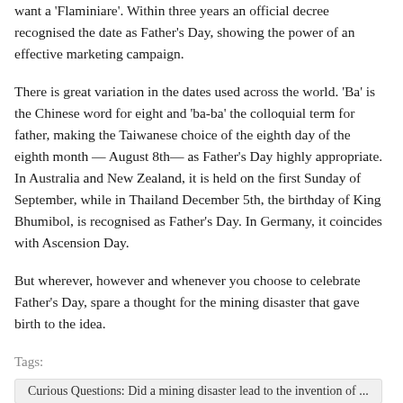want a 'Flaminiare'. Within three years an official decree recognised the date as Father's Day, showing the power of an effective marketing campaign.
There is great variation in the dates used across the world. 'Ba' is the Chinese word for eight and 'ba-ba' the colloquial term for father, making the Taiwanese choice of the eighth day of the eighth month — August 8th— as Father's Day highly appropriate. In Australia and New Zealand, it is held on the first Sunday of September, while in Thailand December 5th, the birthday of King Bhumibol, is recognised as Father's Day. In Germany, it coincides with Ascension Day.
But wherever, however and whenever you choose to celebrate Father's Day, spare a thought for the mining disaster that gave birth to the idea.
Tags:
Curious Questions: Did a mining disaster lead to the invention of ...